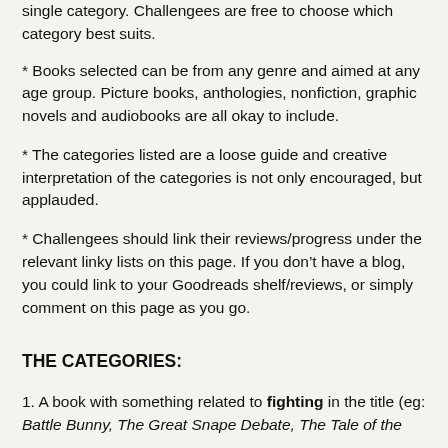* Books selected can be from any genre and aimed at any age group. Picture books, anthologies, nonfiction, graphic novels and audiobooks are all okay to include.
* The categories listed are a loose guide and creative interpretation of the categories is not only encouraged, but applauded.
* Challengees should link their reviews/progress under the relevant linky lists on this page. If you don't have a blog, you could link to your Goodreads shelf/reviews, or simply comment on this page as you go.
THE CATEGORIES:
1. A book with something related to fighting in the title (eg: Battle Bunny, The Great Snape Debate, The Tale of the